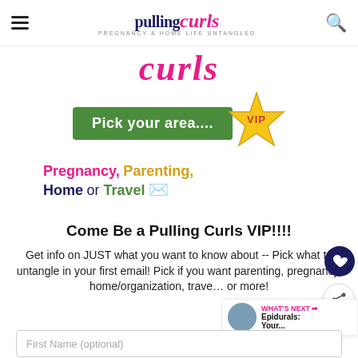pulling curls — PREGNANCY & HOME LIFE UNTANGLED
[Figure (illustration): Pulling Curls website banner showing stylized curls text in pink, a green 'Pick your area...' button with VIP gold star, and topic categories: Pregnancy (pink), Parenting (yellow), Home (dark blue), or Travel (green) with email icon]
Come Be a Pulling Curls VIP!!!!
Get info on JUST what you want to know about -- Pick what to untangle in your first email! Pick if you want parenting, pregnancy, home/organization, travel or more!
First Name (optional)